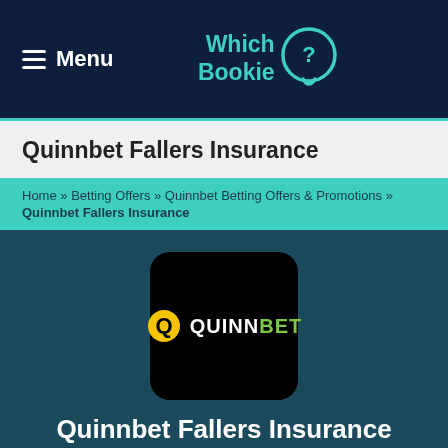Menu | Which Bookie
Quinnbet Fallers Insurance
Home » Betting Offers » Quinnbet Betting Offers & Promotions » Quinnbet Fallers Insurance
[Figure (logo): QuinnBet logo on black rounded square background]
Quinnbet Fallers Insurance
Available on selected UK & Irish Races
18+ T&C's Apply. begambleaware.org #ad
VISIT QUINNBET